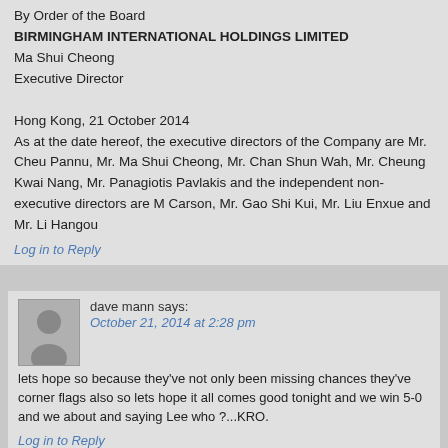By Order of the Board
BIRMINGHAM INTERNATIONAL HOLDINGS LIMITED
Ma Shui Cheong
Executive Director

Hong Kong, 21 October 2014
As at the date hereof, the executive directors of the Company are Mr. Cheung Shing Pannu, Mr. Ma Shui Cheong, Mr. Chan Shun Wah, Mr. Cheung Kwai Nang, Mr. Panagiotis Pavlakis and the independent non-executive directors are Mr. Carson, Mr. Gao Shi Kui, Mr. Liu Enxue and Mr. Li Hangou
Log in to Reply
dave mann says:
October 21, 2014 at 2:28 pm
lets hope so because they've not only been missing chances they've corner flags also so lets hope it all comes good tonight and we win 5-0 and we about and saying Lee who ?...KRO.
Log in to Reply
mark says:
October 21, 2014 at 2:41 pm
van gaal one point better off than moyes was same time last year, money...if we wait a bit longer he might become available by Christmas..... its suddenly become rose y outside....